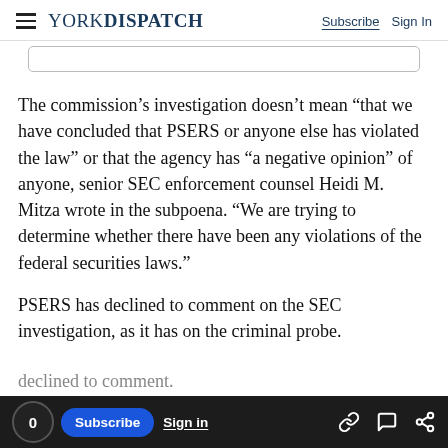YORK DISPATCH | Subscribe  Sign In
The commission’s investigation doesn’t mean “that we have concluded that PSERS or anyone else has violated the law” or that the agency has “a negative opinion” of anyone, senior SEC enforcement counsel Heidi M. Mitza wrote in the subpoena. “We are trying to determine whether there have been any violations of the federal securities laws.”
PSERS has declined to comment on the SEC investigation, as it has on the criminal probe.
declined to comment.